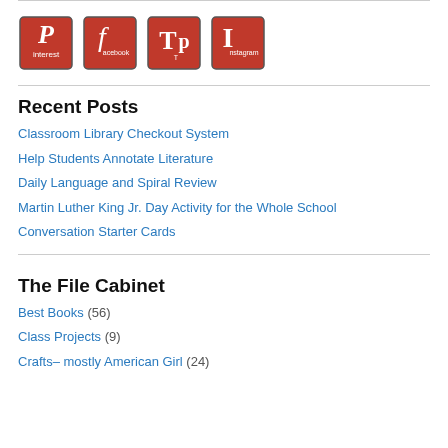[Figure (illustration): Four hand-drawn red social media icon tiles for Pinterest, Facebook, Tumblr/TPT, and Instagram]
Recent Posts
Classroom Library Checkout System
Help Students Annotate Literature
Daily Language and Spiral Review
Martin Luther King Jr. Day Activity for the Whole School
Conversation Starter Cards
The File Cabinet
Best Books (56)
Class Projects (9)
Crafts– mostly American Girl (24)